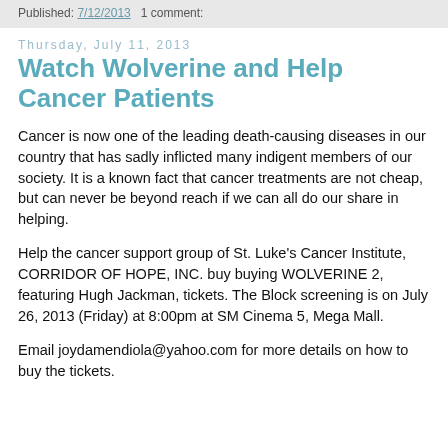Published: 7/12/2013   1 comment:
Thursday, July 11, 2013
Watch Wolverine and Help Cancer Patients
Cancer is now one of the leading death-causing diseases in our country that has sadly inflicted many indigent members of our society. It is a known fact that cancer treatments are not cheap, but can never be beyond reach if we can all do our share in helping.
Help the cancer support group of St. Luke's Cancer Institute, CORRIDOR OF HOPE, INC. buy buying WOLVERINE 2, featuring Hugh Jackman, tickets. The Block screening is on July 26, 2013 (Friday) at 8:00pm at SM Cinema 5, Mega Mall.
Email joydamendiola@yahoo.com for more details on how to buy the tickets.